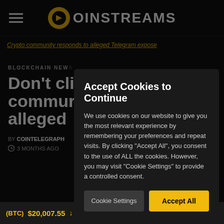COINSTREAMS
Crypto community responds to alleged Telegram expose
BLOCKCHAIN NEWS
Don’t cli… commu… alleged…
BY COINTELEGRAPH
3 MONTHS AGO
Accept Cookies to Continue
We use cookies on our website to give you the most relevant experience by remembering your preferences and repeat visits. By clicking "Accept All", you consent to the use of ALL the cookies. However, you may visit "Cookie Settings" to provide a controlled consent.
Cookie Settings | Accept All
(BTC) $20,007.55 ↓ -1.45%   Ethereum (ETH) $1,488.76